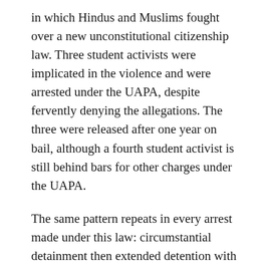in which Hindus and Muslims fought over a new unconstitutional citizenship law. Three student activists were implicated in the violence and were arrested under the UAPA, despite fervently denying the allegations. The three were released after one year on bail, although a fourth student activist is still behind bars for other charges under the UAPA.
The same pattern repeats in every arrest made under this law: circumstantial detainment then extended detention with no promise for bail or trial. In fact, less than 3% of those brought in by the National Intelligence Agency (NIA) are convicted while many others have died waiting for trial. The right to due process with a fair and speedy trial is a key part of democracy, neither of which is given to those arrested under the UAPA, further suffocating human rights